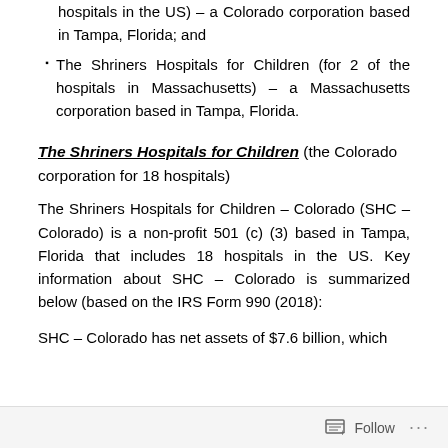hospitals in the US) – a Colorado corporation based in Tampa, Florida; and
The Shriners Hospitals for Children (for 2 of the hospitals in Massachusetts) – a Massachusetts corporation based in Tampa, Florida.
The Shriners Hospitals for Children (the Colorado corporation for 18 hospitals)
The Shriners Hospitals for Children – Colorado (SHC – Colorado) is a non-profit 501 (c) (3) based in Tampa, Florida that includes 18 hospitals in the US. Key information about SHC – Colorado is summarized below (based on the IRS Form 990 (2018):
SHC – Colorado has net assets of $7.6 billion, which
Follow ...